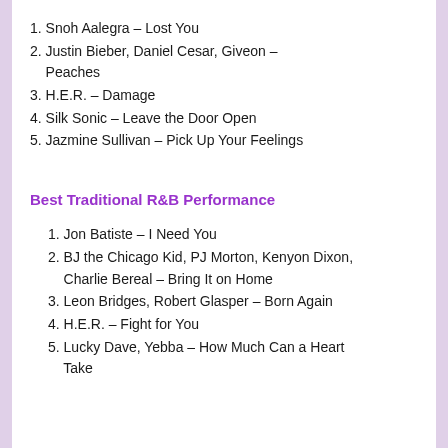1. Snoh Aalegra – Lost You
2. Justin Bieber, Daniel Cesar, Giveon – Peaches
3. H.E.R. – Damage
4. Silk Sonic – Leave the Door Open
5. Jazmine Sullivan – Pick Up Your Feelings
Best Traditional R&B Performance
1. Jon Batiste – I Need You
2. BJ the Chicago Kid, PJ Morton, Kenyon Dixon, Charlie Bereal – Bring It on Home
3. Leon Bridges, Robert Glasper – Born Again
4. H.E.R. – Fight for You
5. Lucky Dave, Yebba – How Much Can a Heart Take